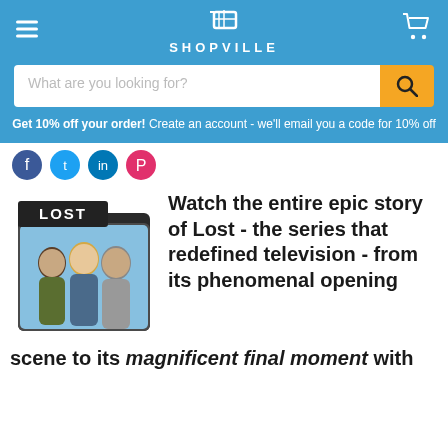SHOPVILLE
What are you looking for?
Get 10% off your order! Create an account - we'll email you a code for 10% off
[Figure (illustration): LOST TV show folder icon with three cast members]
Watch the entire epic story of Lost - the series that redefined television - from its phenomenal opening scene to its magnificent final moment with